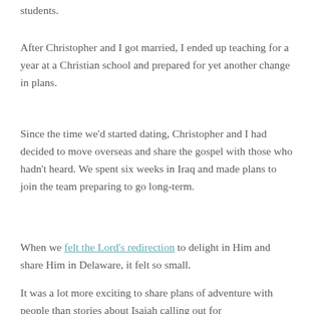students.
After Christopher and I got married, I ended up teaching for a year at a Christian school and prepared for yet another change in plans.
Since the time we'd started dating, Christopher and I had decided to move overseas and share the gospel with those who hadn't heard. We spent six weeks in Iraq and made plans to join the team preparing to go long-term.
When we felt the Lord's redirection to delight in Him and share Him in Delaware, it felt so small.
It was a lot more exciting to share plans of adventure with people than stories about Isaiah calling out for